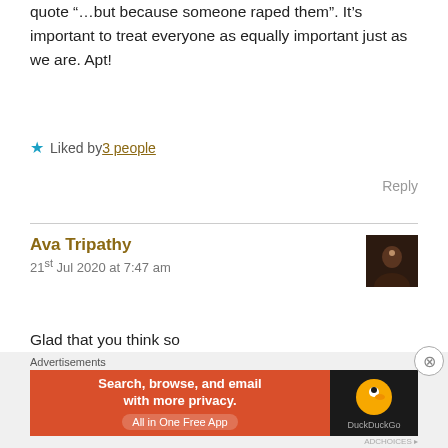quote “…but because someone raped them”. It’s important to treat everyone as equally important just as we are. Apt!
★ Liked by 3 people
Reply
Ava Tripathy
21st Jul 2020 at 7:47 am
Glad that you think so
Thank you so much for reading and sharing your valuable thoughts means a lot 😇😊
[Figure (screenshot): DuckDuckGo advertisement banner with orange background and dark section with duck logo. Text reads: Search, browse, and email with more privacy. All in One Free App. DuckDuckGo.]